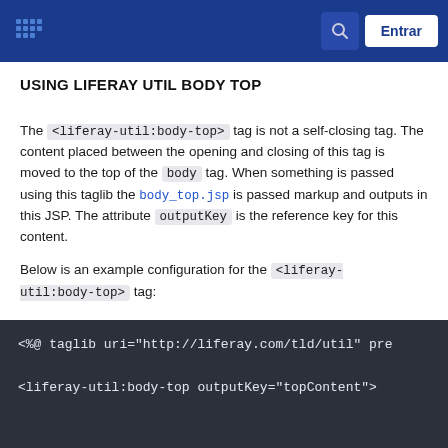Liferay documentation site header with logo, search button, and Entrar button
USING LIFERAY UTIL BODY TOP
The <liferay-util:body-top> tag is not a self-closing tag. The content placed between the opening and closing of this tag is moved to the top of the body tag. When something is passed using this taglib the body_top.jsp is passed markup and outputs in this JSP. The attribute outputKey is the reference key for this content.
Below is an example configuration for the <liferay-util:body-top> tag:
[Figure (screenshot): Dark code block showing JSP taglib directive: <%@ taglib uri="http://liferay.com/tld/util" pre... and <liferay-util:body-top outputKey="topContent">]